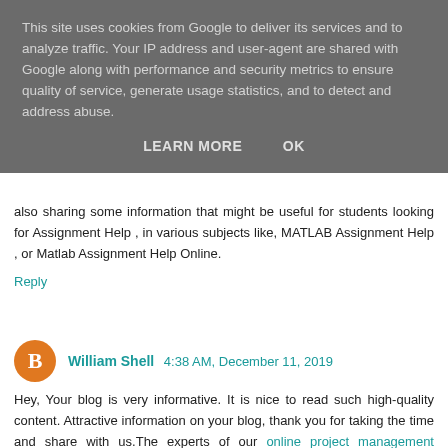This site uses cookies from Google to deliver its services and to analyze traffic. Your IP address and user-agent are shared with Google along with performance and security metrics to ensure quality of service, generate usage statistics, and to detect and address abuse.
LEARN MORE   OK
also sharing some information that might be useful for students looking for Assignment Help , in various subjects like, MATLAB Assignment Help , or Matlab Assignment Help Online.
Reply
William Shell  4:38 AM, December 11, 2019
Hey, Your blog is very informative. It is nice to read such high-quality content. Attractive information on your blog, thank you for taking the time and share with us.The experts of our online project management assignment help provide custom dissertation for you within the time that you provide